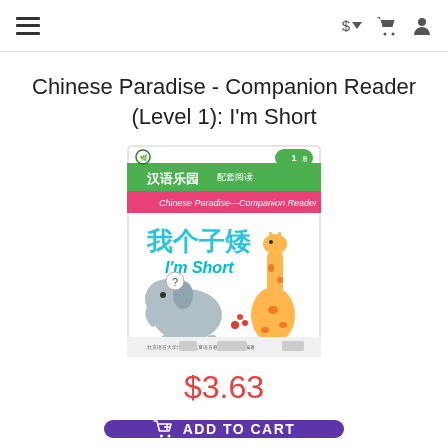$ ADD TO CART navigation bar with hamburger menu, currency selector, cart icon, and user icon
Chinese Paradise - Companion Reader (Level 1): I'm Short
[Figure (photo): Book cover of 'Chinese Paradise — Companion Reader (Level 1): I'm Short'. Cover shows Chinese text 我个子矮 and English text "I'm Short", with illustrations of a giraffe and a small elephant with a question mark, on a white background. Green and pink banner at top with Chinese and English series title. Level 1 badge in top right corner.]
$3.63
ADD TO CART